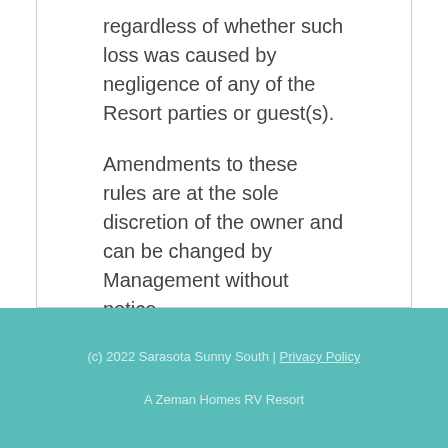regardless of whether such loss was caused by negligence of any of the Resort parties or guest(s).
Amendments to these rules are at the sole discretion of the owner and can be changed by Management without notice.
(c) 2022 Sarasota Sunny South | Privacy Policy
A Zeman Homes RV Resort